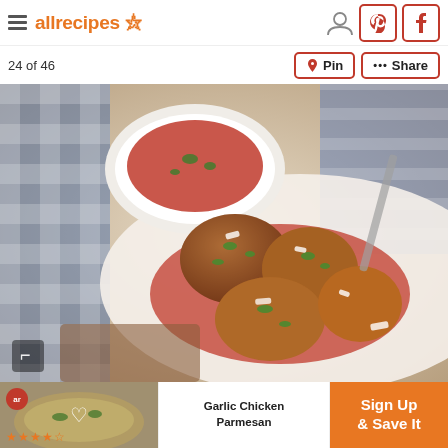allrecipes
24 of 46
Pin   Share
[Figure (photo): Chicken meatballs with tomato sauce and parmesan on a wooden cutting board, with a bowl of marinara sauce in the background, blue gingham napkin on the side]
Garlic Chicken Parmesan  Sign Up & Save It  ★★★★☆